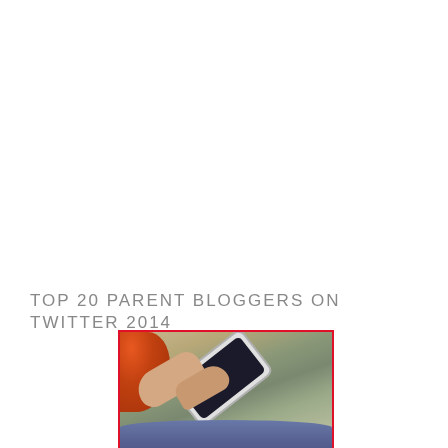TOP 20 PARENT BLOGGERS ON TWITTER 2014
[Figure (photo): Person with red/orange hair holding a smartphone, photographed from above, sitting on stone/tiled surface, wearing blue jeans. Photo has a red border.]